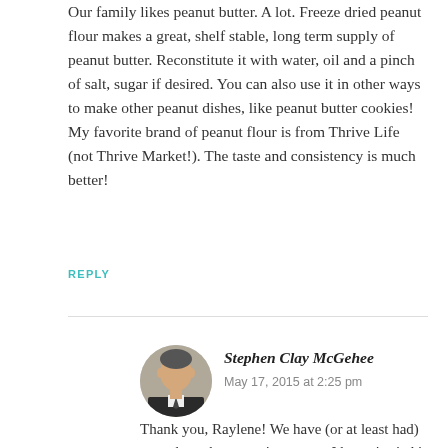Our family likes peanut butter. A lot. Freeze dried peanut flour makes a great, shelf stable, long term supply of peanut butter. Reconstitute it with water, oil and a pinch of salt, sugar if desired. You can also use it in other ways to make other peanut dishes, like peanut butter cookies! My favorite brand of peanut flour is from Thrive Life (not Thrive Market!). The taste and consistency is much better!
REPLY
[Figure (photo): Profile photo of Stephen Clay McGehee, a man in a suit]
Stephen Clay McGehee
May 17, 2015 at 2:25 pm
Thank you, Raylene! We have (or at least had) some here that was given to us. I haven’t tried it yet myself since we always keep plenty stored away here. Peanut butter and jelly sandwiches are